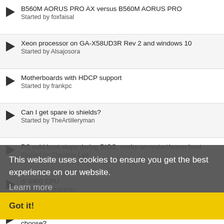B560M AORUS PRO AX versus B560M AORUS PRO
Started by foxfaisal
Xeon processor on GA-X58UD3R Rev 2 and windows 10
Started by Alsajosora
Motherboards with HDCP support
Started by frankpc
Can I get spare io shields?
Started by TheArtilleryman
PC cold boot stops during BIOS, works on restart/warm boot
Started by Cheshire Lad
i5 8400 CPU
Started by quarkrau
Which direction to BIOS in a new Intel 12900K computer should I choose?
Started by 6311
Parade VGA Firmware Update
Started by teknology9
This website uses cookies to ensure you get the best experience on our website.
Learn more
Got it!